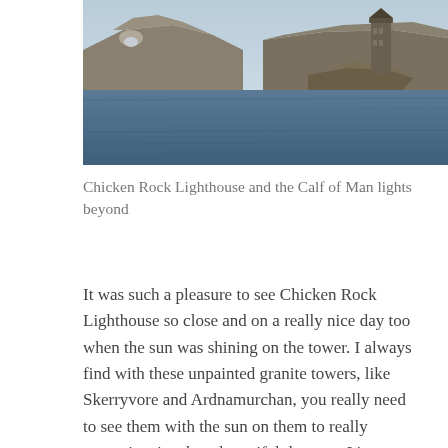[Figure (photo): Photograph of Chicken Rock Lighthouse tower on a rocky island, with water in the foreground and another island with rocky cliffs visible in the background. Blue sky and calm sea conditions.]
Chicken Rock Lighthouse and the Calf of Man lights beyond
It was such a pleasure to see Chicken Rock Lighthouse so close and on a really nice day too when the sun was shining on the tower. I always find with these unpainted granite towers, like Skerryvore and Ardnamurchan, you really need to see them with the sun on them to really appreciate just how beautiful they are. It's